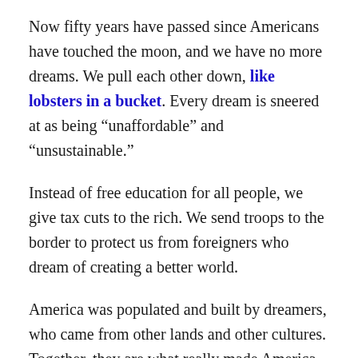Now fifty years have passed since Americans have touched the moon, and we have no more dreams. We pull each other down, like lobsters in a bucket. Every dream is sneered at as being “unaffordable” and “unsustainable.”
Instead of free education for all people, we give tax cuts to the rich. We send troops to the border to protect us from foreigners who dream of creating a better world.
America was populated and built by dreamers, who came from other lands and other cultures. Together, they are what really made America great.
Together.
Now, instead of dreams, we settle for a despot’s lies to a